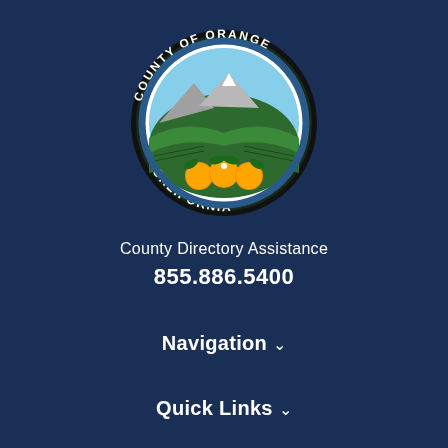[Figure (logo): County of Orange California official seal — circular seal with black border, text 'COUNTY OF ORANGE' at top and 'CALIFORNIA' at bottom, inner circle showing mountains, green fields, blue sky, and three oranges with leaves in the foreground]
County Directory Assistance
855.886.5400
Navigation ˅
Quick Links ˅
Resources ˅